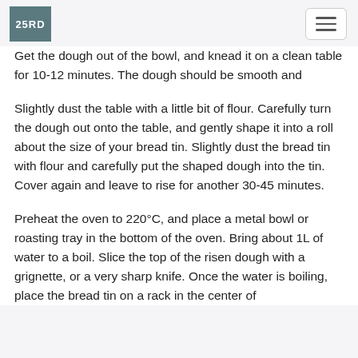25RD [logo] [hamburger menu]
Get the dough out of the bowl, and knead it on a clean table for 10-12 minutes. The dough should be smooth and elastic. Shape into a ball, place it back in the bowl and cover with a kitchen cloth. Leave to rise for 60-90 minutes.
Slightly dust the table with a little bit of flour. Carefully turn the dough out onto the table, and gently shape it into a roll about the size of your bread tin. Slightly dust the bread tin with flour and carefully put the shaped dough into the tin. Cover again and leave to rise for another 30-45 minutes.
Preheat the oven to 220°C, and place a metal bowl or roasting tray in the bottom of the oven. Bring about 1L of water to a boil. Slice the top of the risen dough with a grignette, or a very sharp knife. Once the water is boiling, place the bread tin on a rack in the center of